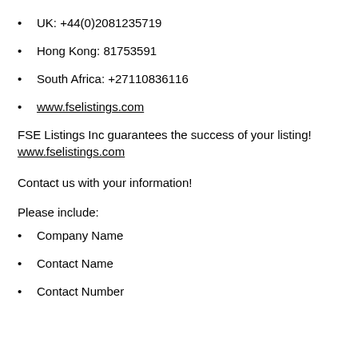UK: +44(0)2081235719
Hong Kong: 81753591
South Africa: +27110836116
www.fselistings.com
FSE Listings Inc guarantees the success of your listing! www.fselistings.com
Contact us with your information!
Please include:
Company Name
Contact Name
Contact Number